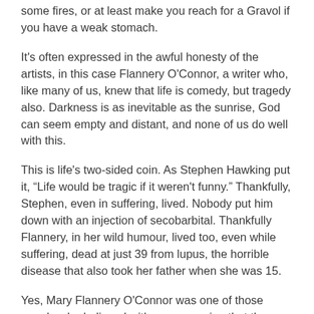some fires, or at least make you reach for a Gravol if you have a weak stomach.
It's often expressed in the awful honesty of the artists, in this case Flannery O'Connor, a writer who, like many of us, knew that life is comedy, but tragedy also. Darkness is as inevitable as the sunrise, God can seem empty and distant, and none of us do well with this.
This is life's two-sided coin. As Stephen Hawking put it, “Life would be tragic if it weren't funny.” Thankfully, Stephen, even in suffering, lived. Nobody put him down with an injection of secobarbital. Thankfully Flannery, in her wild humour, lived too, even while suffering, dead at just 39 from lupus, the horrible disease that also took her father when she was 15.
Yes, Mary Flannery O'Connor was one of those people who believed with some passion that the universe – you and me and every living thing – is charged with God, that is the God of Easter: the mysterious God-Man, Jesus, of